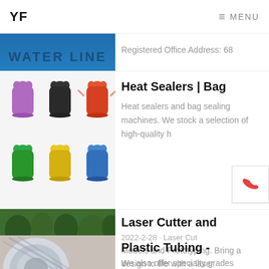YF   ≡ MENU
Registered Office Address: 68
Heat Sealers | Bag
Heat sealers and bag sealing machines. We stock a selection of high-quality h
[Figure (photo): Colorful plastic carrier bags in purple, black, red, green, yellow, blue]
Laser Cutter and
2022-2-28 · Laser Cut Models and Prototyping. Bring a design to life with a laser
[Figure (photo): Plastic greenhouse tunnel in a garden with clear polythene sheeting]
Plastic Tubing -
We also offer specialty grades